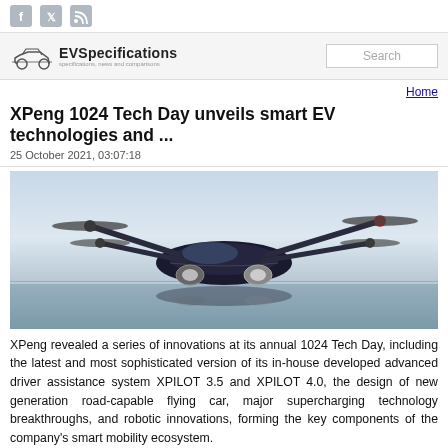Social icons: Facebook, Twitter, RSS
[Figure (logo): EVSpecifications logo with car silhouette icon and tagline 'specifications, news and comparisons']
Home
XPeng 1024 Tech Day unveils smart EV technologies and ...
25 October 2021, 03:07:18
[Figure (photo): A futuristic flying car/drone hybrid vehicle with four rotors hovering above reflective water surface, dark sleek body with silver wheel details]
XPeng revealed a series of innovations at its annual 1024 Tech Day, including the latest and most sophisticated version of its in-house developed advanced driver assistance system XPILOT 3.5 and XPILOT 4.0, the design of new generation road-capable flying car, major supercharging technology breakthroughs, and robotic innovations, forming the key components of the company's smart mobility ecosystem.